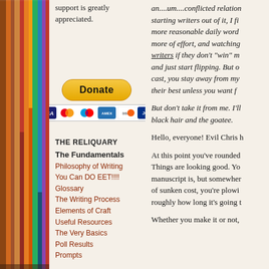[Figure (photo): Bookshelf with colorful book spines visible on the left side of the page]
support is greatly appreciated.
[Figure (other): Donate button with PayPal payment icons including Visa, Mastercard, American Express, Discover, JCB]
THE RELIQUARY
The Fundamentals
Philosophy of Writing
You Can DO EET!!!!
Glossary
The Writing Process
Elements of Craft
Useful Resources
The Very Basics
Poll Results
Prompts
an....um....conflicted relation starting writers out of it, I fi more reasonable daily word more of effort, and watching writers if they don't "win" m and just start flipping. But o cast, you stay away from my their best unless you want f
But don't take it from me. I'll black hair and the goatee.
Hello, everyone! Evil Chris h
At this point you've rounded Things are looking good. Yo manuscript is, but somewher of sunken cost, you're plowi roughly how long it's going t
Whether you make it or not,